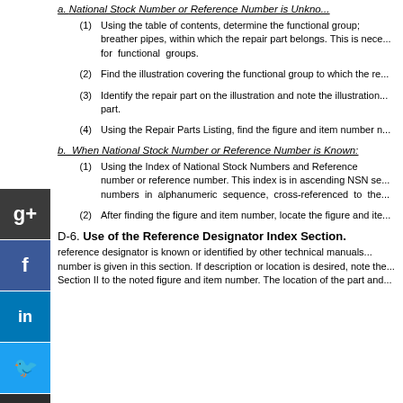a. National Stock Number or Reference Number is Unknown:
(1) Using the table of contents, determine the functional group; breather pipes, within which the repair part belongs. This is necessary for functional groups.
(2) Find the illustration covering the functional group to which the re...
(3) Identify the repair part on the illustration and note the illustration... part.
(4) Using the Repair Parts Listing, find the figure and item number n...
b. When National Stock Number or Reference Number is Known:
(1) Using the Index of National Stock Numbers and Reference number or reference number. This index is in ascending NSN se... numbers in alphanumeric sequence, cross-referenced to the...
(2) After finding the figure and item number, locate the figure and ite...
D-6. Use of the Reference Designator Index Section.
reference designator is known or identified by other technical manuals... number is given in this section. If description or location is desired, note the... Section II to the noted figure and item number. The location of the part and...